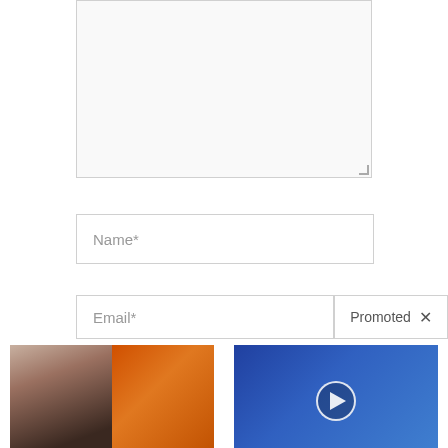[Figure (screenshot): A textarea input box, empty, with light gray background and resize handle in bottom-right corner]
Name*
Email*
Promoted ×
[Figure (photo): Advertisement image: woman showing abs on left, spoonful of brown spice on right]
Just 1 Teaspoon Burns Belly Fat Like Crazy!
🔥 1,567
[Figure (photo): Advertisement image: older man in suit speaking at podium against blue background, video play button overlay]
Overlooked Message In The Bible Democrats Want Banned
🔥 140,145